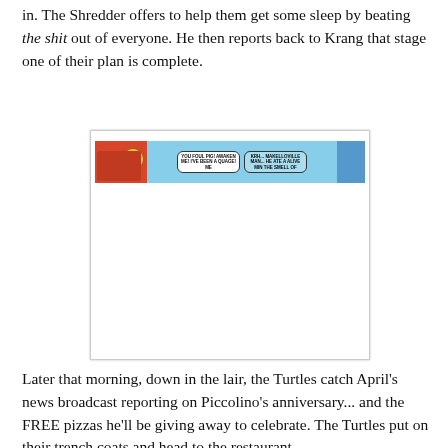in.  The Shredder offers to help them get some sleep by beating the shit out of everyone.  He then reports back to Krang that stage one of their plan is complete.
[Figure (illustration): A comic strip panel showing a red section on the left with a pizza-like circular object, a light blue center section with two speech bubbles containing small text, and a darker blue section on the right. The image is shown inside a white bordered box with most of the interior being white/blank.]
Later that morning, down in the lair, the Turtles catch April's news broadcast reporting on Piccolino's anniversary... and the FREE pizzas he'll be giving away to celebrate.  The Turtles put on their trench coats and head to the restaurant